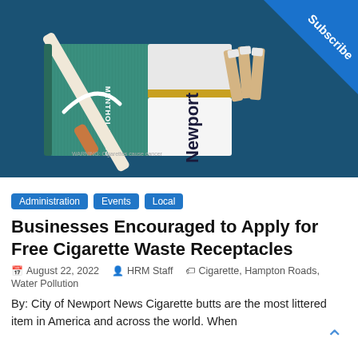[Figure (photo): A Newport Menthol Kings cigarette box lying open on a blue surface, with several cigarettes spilling out and one cigarette resting diagonally against the box.]
Subscribe
Administration
Events
Local
Businesses Encouraged to Apply for Free Cigarette Waste Receptacles
August 22, 2022   HRM Staff   Cigarette, Hampton Roads,
Water Pollution
By: City of Newport News Cigarette butts are the most littered item in America and across the world. When